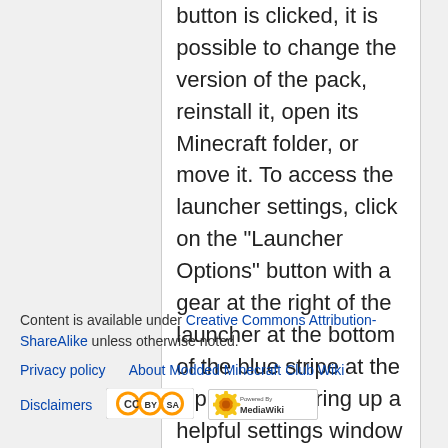button is clicked, it is possible to change the version of the pack, reinstall it, open its Minecraft folder, or move it. To access the launcher settings, click on the "Launcher Options" button with a gear at the right of the launcher at the bottom of the blue stripe at the top. This will bring up a helpful settings window with a large variety of options. The most interesting to you are likely in the "Java Settings" tab, however. It is worth briefly exploring these settings to determine if you want to change any.
Content is available under Creative Commons Attribution-ShareAlike unless otherwise noted.
Privacy policy   About Modded Minecraft Club Wiki
Disclaimers